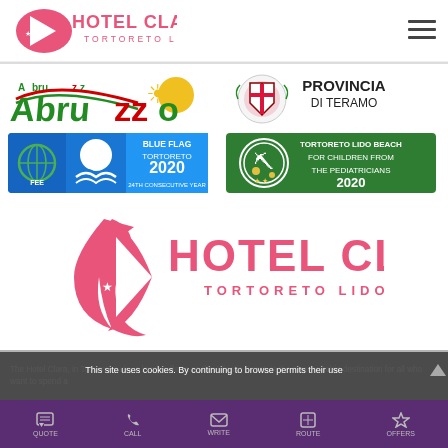[Figure (logo): Hotel Clara Tortoreto Lido logo with pink sailing ship and stars, pink text]
[Figure (logo): Hamburger menu icon (three horizontal lines)]
[Figure (logo): Abruzzo regional logo with sun and stylized text in green and red]
[Figure (logo): Provincia di Teramo coat of arms with text PROVINCIA DI TERAMO]
[Figure (logo): Blue Flag FEE Tortoreto 2020 24th Consecutive Year badge]
[Figure (logo): Tortoreto Lido Beach for Children from the Pediatricians 2020 green badge]
[Figure (logo): Large Hotel Clara Tortoreto Lido logo centered on page]
The Hotel Clara, in Tortoreto Lido, a lovely village on the Adriatic Coast, is the most suitable destination for all who want to spend a
This site uses cookies. By continuing to browse permits their use
I agree
More info
QUOTE  CALL  WRITE  ROUTE  OFFERS